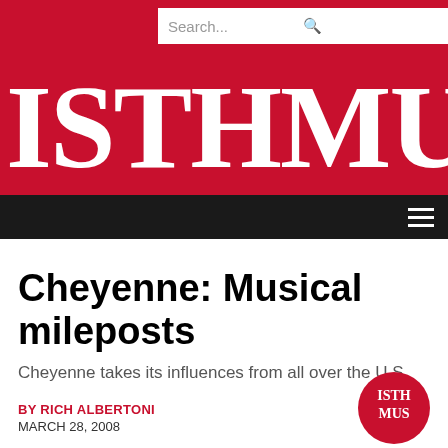[Figure (logo): Isthmus newspaper website header with red background, search bar at top right, large white ISTHMUS text logo, and dark navigation bar with hamburger menu icon]
Cheyenne: Musical mileposts
Cheyenne takes its influences from all over the U.S.
BY RICH ALBERTONI
MARCH 28, 2008